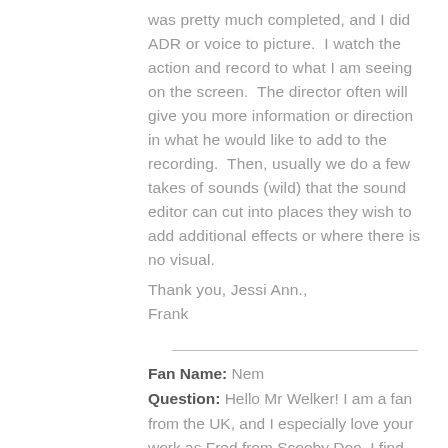was pretty much completed, and I did ADR or voice to picture.  I watch the action and record to what I am seeing on the screen.  The director often will give you more information or direction in what he would like to add to the recording.  Then, usually we do a few takes of sounds (wild) that the sound editor can cut into places they wish to add additional effects or where there is no visual.
Thank you, Jessi Ann.,
Frank
Fan Name: Nem
Question: Hello Mr Welker! I am a fan from the UK, and I especially love your work as Fred from Scooby Doo. I find that he doesn't always get the love he